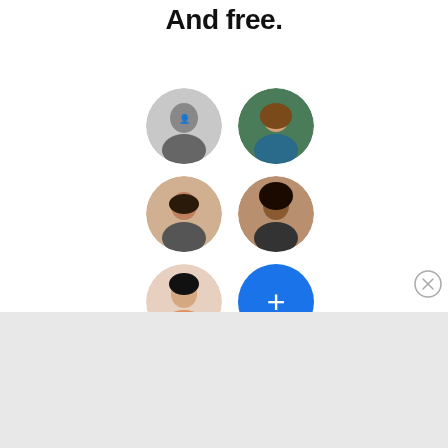And free.
[Figure (illustration): Six circular profile avatar photos arranged in a 2-column grid: row 1 (man in dark jacket, woman with brown hair), row 2 (man with beard, woman with curly hair), row 3 (woman with straight black hair, blue circle with plus sign for adding more)]
[Figure (illustration): Close/dismiss button (circle with X) in the lower right of the top white section]
Advertisements
[Figure (screenshot): DuckDuckGo advertisement banner on orange-red background. Left side: bold white text 'Search, browse, and email with more privacy.' with a white pill button 'All in One Free App'. Right side: a phone mockup showing DuckDuckGo app with DuckDuckGo logo and wordmark.]